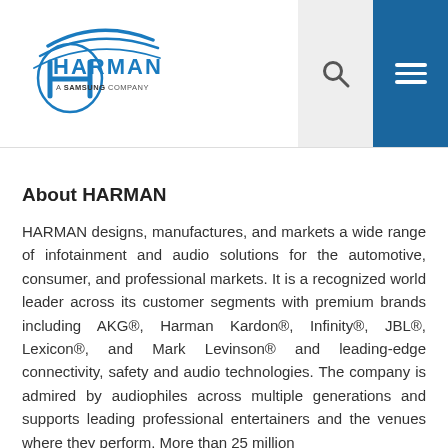[Figure (logo): HARMAN logo - A Samsung Company, with blue arc swoosh design]
About HARMAN
HARMAN designs, manufactures, and markets a wide range of infotainment and audio solutions for the automotive, consumer, and professional markets. It is a recognized world leader across its customer segments with premium brands including AKG®, Harman Kardon®, Infinity®, JBL®, Lexicon®, and Mark Levinson® and leading-edge connectivity, safety and audio technologies. The company is admired by audiophiles across multiple generations and supports leading professional entertainers and the venues where they perform. More than 25 million